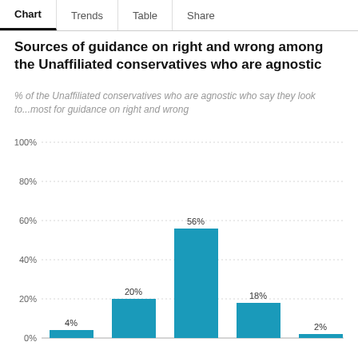Chart | Trends | Table | Share
Sources of guidance on right and wrong among the Unaffiliated conservatives who are agnostic
% of the Unaffiliated conservatives who are agnostic who say they look to...most for guidance on right and wrong
[Figure (bar-chart): Sources of guidance on right and wrong among the Unaffiliated conservatives who are agnostic]